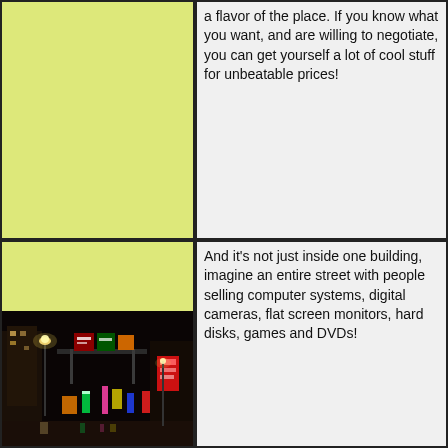[Figure (photo): Yellow/lime green background area - top left cell, empty yellow rectangle]
a flavor of the place. If you know what you want, and are willing to negotiate, you can get yourself a lot of cool stuff for unbeatable prices!
[Figure (photo): Yellow/lime green background area - bottom left cell with a nighttime city street photo at bottom showing illuminated signs and buildings in what appears to be an Asian city]
And it's not just inside one building, imagine an entire street with people selling computer systems, digital cameras, flat screen monitors, hard disks, games and DVDs!